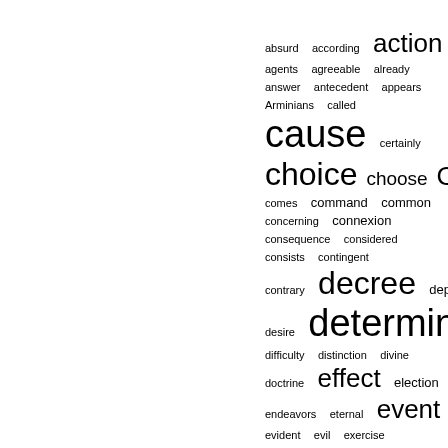[Figure (other): Word cloud of index terms in varying font sizes, all in blue. Words include: absurd, according, action, agents, agreeable, already, answer, antecedent, appears, Arminians, called, cause, certainly, choice, choose, Christ, comes, command, common, concerning, connexion, consequence, considered, consists, contingent, contrary, decree, depend, desire, determined, difficulty, distinction, divine, doctrine, effect, election, endeavors, eternal, event, evident, evil, exercise, exertion, existence, faith]